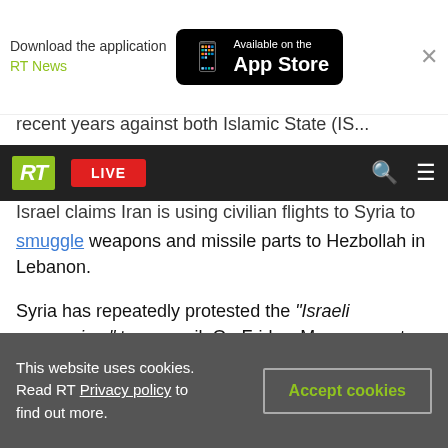[Figure (screenshot): App store download banner with RT News logo and Available on the App Store button, with X close button]
recent years against both Islamic State (IS...
[Figure (screenshot): RT website navigation bar with green RT logo, red LIVE badge, search icon and hamburger menu]
Israel claims Iran is using civilian flights to Syria to smuggle weapons and missile parts to Hezbollah in Lebanon.
Syria has repeatedly protested the "Israeli aggression," to no avail. On Friday, Moscow sent another warning to Tel Aviv.
"Continued Israeli attacks on Syrian territory in violation of basic norms of international law are absolutely unacceptable," Russian Foreign Ministry spokeswoman Maria Zakharova said on Friday
This website uses cookies. Read RT Privacy policy to find out more.